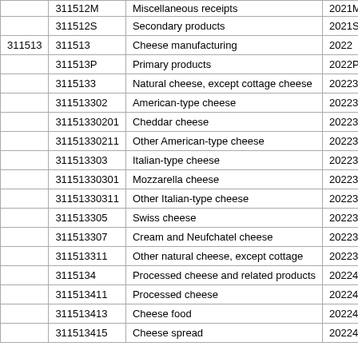| [NAICS] | [Product Code] | [Description] | [SIC-based code] |
| --- | --- | --- | --- |
|  | 311512M | Miscellaneous receipts | 2021M |
|  | 311512S | Secondary products | 2021S |
| 311513 | 311513 | Cheese manufacturing | 2022 |
|  | 311513P | Primary products | 2022P |
|  | 3115133 | Natural cheese, except cottage cheese | 20223 |
|  | 311513302 | American-type cheese | 2022302 |
|  | 31151330201 | Cheddar cheese | 202230201 |
|  | 31151330211 | Other American-type cheese | 202230211 |
|  | 311513303 | Italian-type cheese | 2022303 |
|  | 31151330301 | Mozzarella cheese | 202230301 |
|  | 31151330311 | Other Italian-type cheese | 202230311 |
|  | 311513305 | Swiss cheese | 2022305 |
|  | 311513307 | Cream and Neufchatel cheese | 2022307 |
|  | 311513311 | Other natural cheese, except cottage | 2022311 |
|  | 3115134 | Processed cheese and related products | 20224 |
|  | 311513411 | Processed cheese | 2022411 |
|  | 311513413 | Cheese food | 2022413 |
|  | 311513415 | Cheese spread | 2022415 |